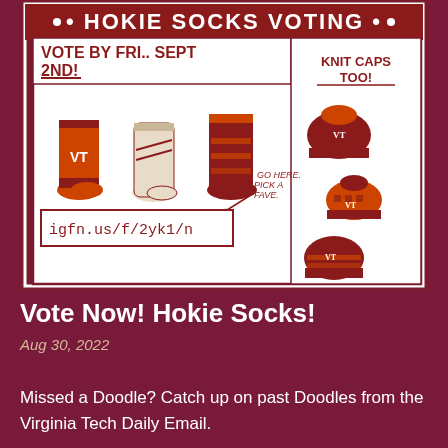[Figure (illustration): Hand-drawn illustration on dark maroon background with white border. Header reads 'HOKIE SOCKS VOTING' in large maroon font on orange/cream banner. Below: 'VOTE BY FRI.. SEPT 2ND!' on left panel and 'KNIT CAPS TOO!' on right panel. Three illustrated socks shown in center. A URL box reads 'igfn.us/f/2yk1/n' with arrow and text 'GO HERE. PICK A FAVE.' Three knit caps shown on right. All in maroon and orange hand-drawn style.]
Vote Now! Hokie Socks!
Aug 30, 2022
Missed a Doodle? Catch up on past Doodles from the Virginia Tech Daily Email.